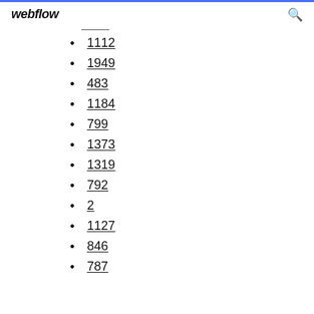webflow
1112
1949
483
1184
799
1373
1319
792
2
1127
846
787